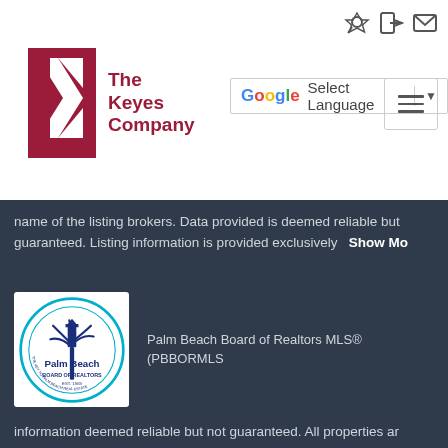[Figure (logo): The Keyes Company logo with stylized red K and company name]
[Figure (screenshot): Google Translate widget with Select Language dropdown]
[Figure (other): Hamburger menu button]
name of the listing brokers. Data provided is deemed reliable but guaranteed. Listing information is provided exclusively   Show Mo
[Figure (logo): Palm Beach Board of Realtors circular logo with palm tree]
Palm Beach Board of Realtors MLS® (PBBORMLS
information deemed reliable but not guaranteed. All properties ar prior sale, change or withdrawal. Neither listing broker(s) or info provider(s) shall be responsible for any typographical errors, misin misprints and shall be held totally harmless. Listing(s) informatio for consumer's personal, non-commercial use and may not be use purpose other than to identify prospective properties consumer